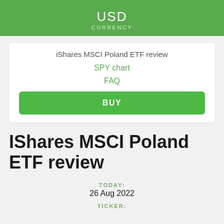USD
CURRENCY
iShares MSCI Poland ETF review
SPY chart
FAQ
BUY
IShares MSCI Poland ETF review
TODAY:
26 Aug 2022
TICKER: